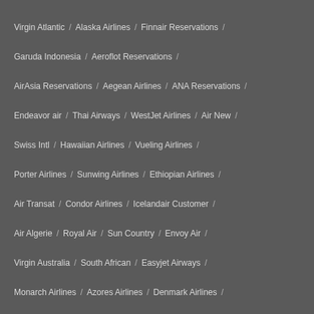Virgin Atlantic
Alaska Airlines
Finnair Reservations
Garuda Indonesia
Aeroflot Reservations
AirAsia Reservations
Aegean Airlines
ANA Reservations
Endeavor air
Thai Airways
WestJet Airlines
Air New
Swiss Intl
Hawaiian Airlines
Vueling Airlines
Porter Airlines
Sunwing Airlines
Ethiopian Airlines
Air Transat
Condor Airlines
Icelandair Customer
Air Algerie
Royal Air
Sun Country
Envoy Air
Virgin Australia
South African
Easyjet Airways
Monarch Airlines
Azores Airlines
Denmark Airlines
Oman Air
Thomas Cook
Brussels Airlines